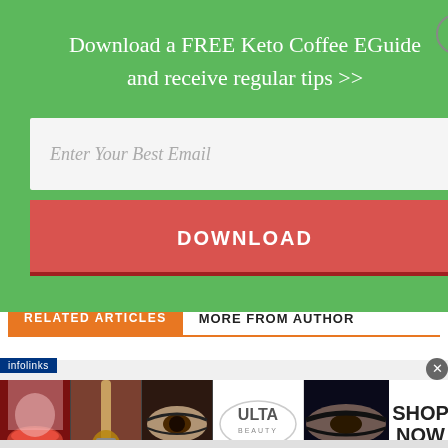Download a FREE Keto Coffee EGuide and receive regular tips >>
Enter Your Best Email
DOWNLOAD
RELATED ARTICLES	MORE FROM AUTHOR
[Figure (screenshot): Infolinks advertisement strip showing beauty/makeup product images and a shop now banner]
infolinks